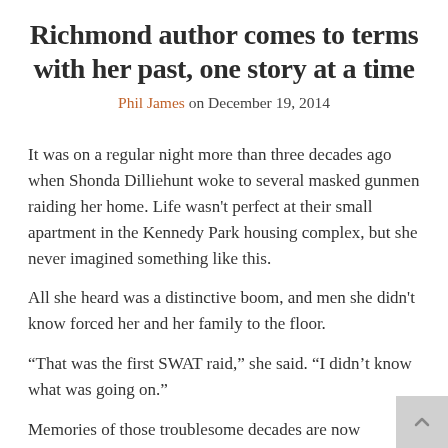Richmond author comes to terms with her past, one story at a time
Phil James on December 19, 2014
It was on a regular night more than three decades ago when Shonda Dilliehunt woke to several masked gunmen raiding her home. Life wasn't perfect at their small apartment in the Kennedy Park housing complex, but she never imagined something like this.
All she heard was a distinctive boom, and men she didn't know forced her and her family to the floor.
“That was the first SWAT raid,” she said. “I didn’t know what was going on.”
Memories of those troublesome decades are now